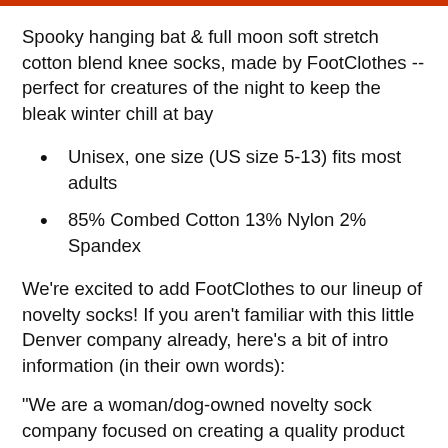Spooky hanging bat & full moon soft stretch cotton blend knee socks, made by FootClothes --perfect for creatures of the night to keep the bleak winter chill at bay
Unisex, one size (US size 5-13) fits most adults
85% Combed Cotton 13% Nylon 2% Spandex
We're excited to add FootClothes to our lineup of novelty socks! If you aren't familiar with this little Denver company already, here's a bit of intro information (in their own words):
"We are a woman/dog-owned novelty sock company focused on creating a quality product with good designs. We believe in eco-friendly